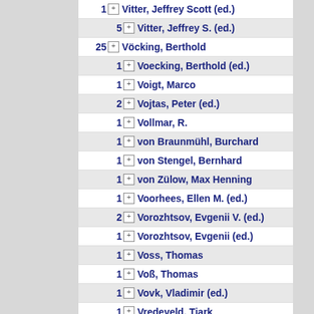1 Vitter, Jeffrey Scott (ed.)
5 Vitter, Jeffrey S. (ed.)
25 Vöcking, Berthold
1 Voecking, Berthold (ed.)
1 Voigt, Marco
2 Vojtas, Peter (ed.)
1 Vollmar, R.
1 von Braunmühl, Burchard
1 von Stengel, Bernhard
1 von Zülow, Max Henning
1 Voorhees, Ellen M. (ed.)
2 Vorozhtsov, Evgenii V. (ed.)
1 Vorozhtsov, Evgenii (ed.)
1 Voss, Thomas
1 Voß, Thomas
1 Vovk, Vladimir (ed.)
1 Vredeveld, Tjark
1 Vuppuluri, Gayathri
3 Wagener, Hubert
1 Wagner, Dorothea
3 Wagner, Dorothea (ed.)
2 Wagner, Frank